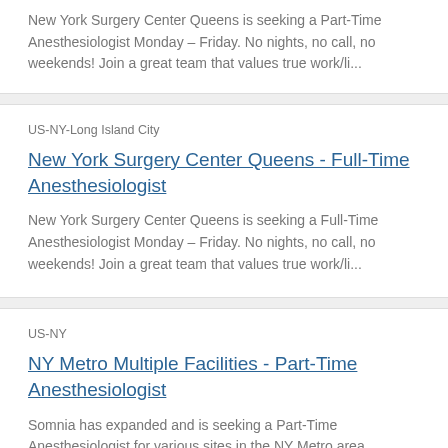New York Surgery Center Queens is seeking a Part-Time Anesthesiologist Monday – Friday. No nights, no call, no weekends! Join a great team that values true work/li...
US-NY-Long Island City
New York Surgery Center Queens - Full-Time Anesthesiologist
New York Surgery Center Queens is seeking a Full-Time Anesthesiologist Monday – Friday. No nights, no call, no weekends! Join a great team that values true work/li...
US-NY
NY Metro Multiple Facilities - Part-Time Anesthesiologist
Somnia has expanded and is seeking a Part-Time Anesthesiologist for various sites in the NY Metro area. Workday options Monday - Saturday. No nights, no ca...